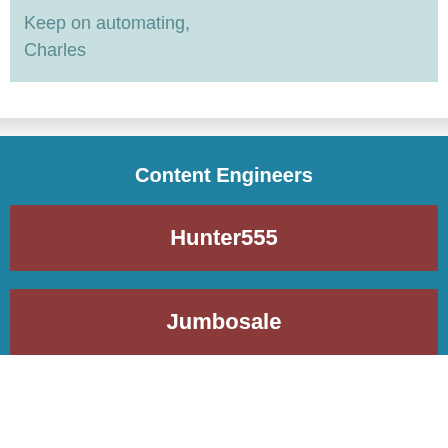Keep on automating,
Charles
Content Engineers
Hunter555
Jumbosale